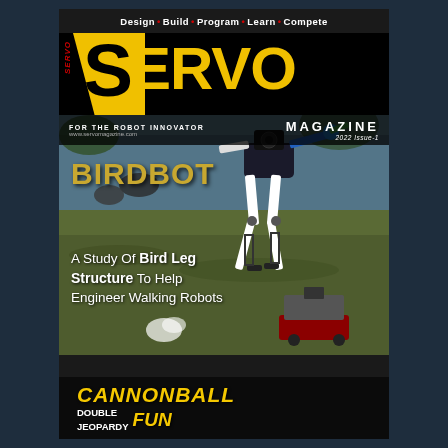SERVO MAGAZINE
Design • Build • Program • Learn • Compete
FOR THE ROBOT INNOVATOR
www.servomagazine.com
2022 Issue-1
[Figure (photo): Cover photo showing a walking bird-leg robot (BirdBot) on grass near a lake with real birds in background, and a small wheeled robot at the bottom with a smoke puff]
BIRDBOT
A Study Of Bird Leg Structure To Help Engineer Walking Robots
CANNONBALL DOUBLE JEOPARDY FUN